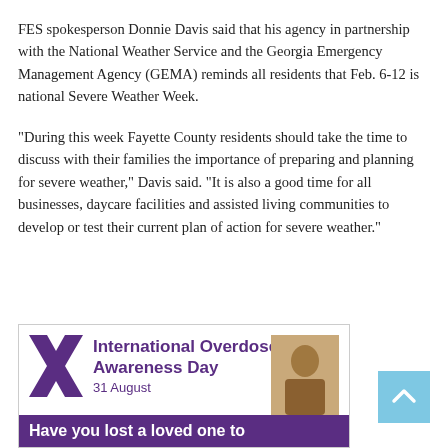FES spokesperson Donnie Davis said that his agency in partnership with the National Weather Service and the Georgia Emergency Management Agency (GEMA) reminds all residents that Feb. 6-12 is national Severe Weather Week.
“During this week Fayette County residents should take the time to discuss with their families the importance of preparing and planning for severe weather,” Davis said. “It is also a good time for all businesses, daycare facilities and assisted living communities to develop or test their current plan of action for severe weather.”
[Figure (infographic): International Overdose Awareness Day advertisement. Purple X logo on left, bold purple text reading 'International Overdose Awareness Day' with date '31 August'. Photo of a person on the right. Purple banner at bottom reading 'Have you lost a loved one to']